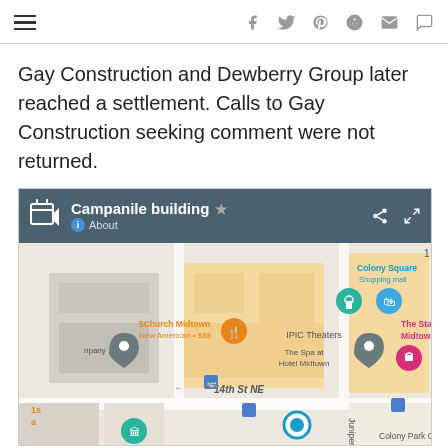hamburger menu, social share icons: facebook, twitter, pinterest, reddit, email, comment
Gay Construction and Dewberry Group later reached a settlement. Calls to Gay Construction seeking comment were not returned.
[Figure (map): Google Maps screenshot showing Campanile building location in Midtown Atlanta, with nearby landmarks including Colony Square Shopping mall, IPIC Theaters, The Spa at Hotel Midtown, 5Church Midtown, The Starling Atlanta Midtown Curio. Map shows 14th St NE and Juniper street.]